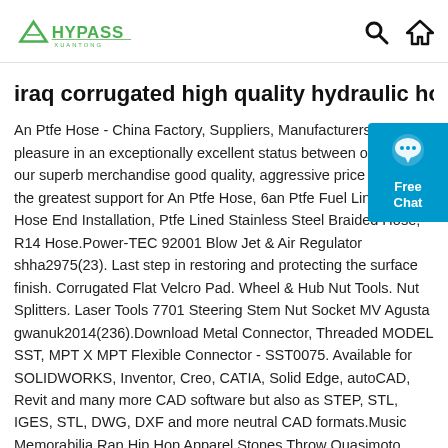HYPASS XUANTONG — search and home icons
iraq corrugated high quality hydraulic hose nap
An Ptfe Hose - China Factory, Suppliers, Manufacturers. We take pleasure in an exceptionally excellent status between our buyers our superb merchandise good quality, aggressive price tag and the greatest support for An Ptfe Hose, 6an Ptfe Fuel Line, Ptfe Hose End Installation, Ptfe Lined Stainless Steel Braided Hose, R14 Hose.Power-TEC 92001 Blow Jet & Air Regulator shha2975(23). Last step in restoring and protecting the surface finish. Corrugated Flat Velcro Pad. Wheel & Hub Nut Tools. Nut Splitters. Laser Tools 7701 Steering Stem Nut Socket MV Agusta gwanuk2014(236).Download Metal Connector, Threaded MODEL SST, MPT X MPT Flexible Connector - SST0075. Available for SOLIDWORKS, Inventor, Creo, CATIA, Solid Edge, autoCAD, Revit and many more CAD software but also as STEP, STL, IGES, STL, DWG, DXF and more neutral CAD formats.Music Memorabilia Rap Hip Hop Apparel Stones Throw Quasimoto Shirt Jeff Jank Madlib Lootpack Madvillai $69 Stones Throw Quasimoto Shirt Jeff Jank Madlib Lootpack Madvillai Entertainment Memorabilia Music Memorabilia Rap Hip Hop Apparel Stones Throw Quasimoto Shirt Jeff Madlib Madvillai Lootpack declining the price